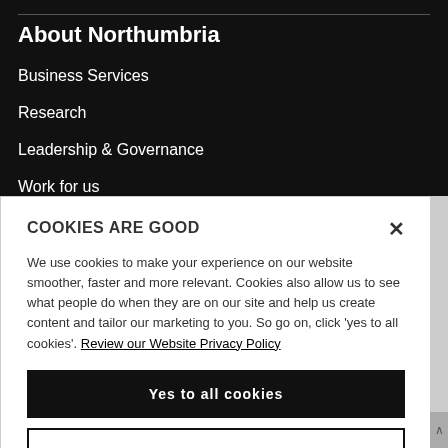About Northumbria
Business Services
Research
Leadership & Governance
Work for us
Charitable Status
COOKIES ARE GOOD
We use cookies to make your experience on our website smoother, faster and more relevant. Cookies also allow us to see what people do when they are on our site and help us create content and tailor our marketing to you. So go on, click 'yes to all cookies'. Review our Website Privacy Policy
Yes to all cookies
Let me choose